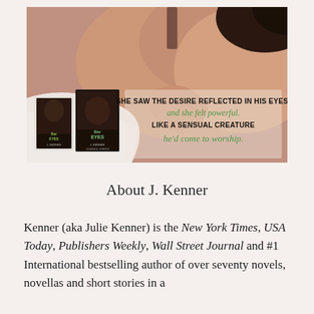[Figure (illustration): Book promotional image for 'Bar Eyes' by J. Kenner. Shows a woman lying down on white sheets with bare skin visible, with two book covers (ebook and print) in the lower left corner. Overlay text reads: 'SHE SAW THE DESIRE REFLECTED IN HIS EYES, and she felt powerful. LIKE A SENSUAL CREATURE he'd come to worship.']
About J. Kenner
Kenner (aka Julie Kenner) is the New York Times, USA Today, Publishers Weekly, Wall Street Journal and #1 International bestselling author of over seventy novels, novellas and short stories in a